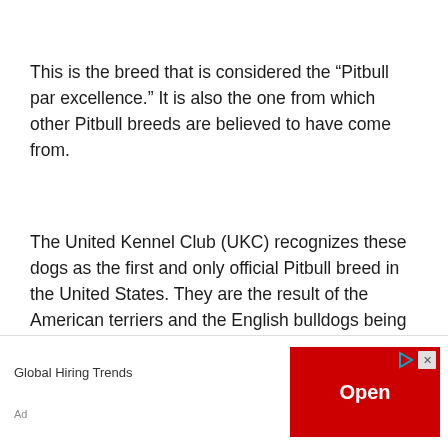This is the breed that is considered the “Pitbull par excellence.” It is also the one from which other Pitbull breeds are believed to have come from.
The United Kennel Club (UKC) recognizes these dogs as the first and only official Pitbull breed in the United States. They are the result of the American terriers and the English bulldogs being crossbred.
Contrary to popular belief, aggression is actually not a part of this dog’s behavior.
[Figure (other): Advertisement banner at bottom of page showing 'Global Hiring Trends' ad with red 'Open' button and close/play icons]